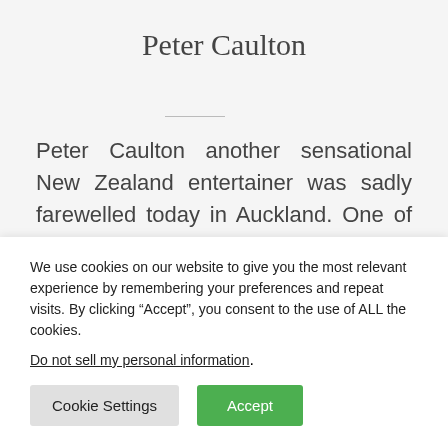Peter Caulton
Peter Caulton another sensational New Zealand entertainer was sadly farewelled today in Auckland. One of the real great New Zealand artists who deserved far more recognition in this country passed
We use cookies on our website to give you the most relevant experience by remembering your preferences and repeat visits. By clicking “Accept”, you consent to the use of ALL the cookies.
Do not sell my personal information.
Cookie Settings
Accept